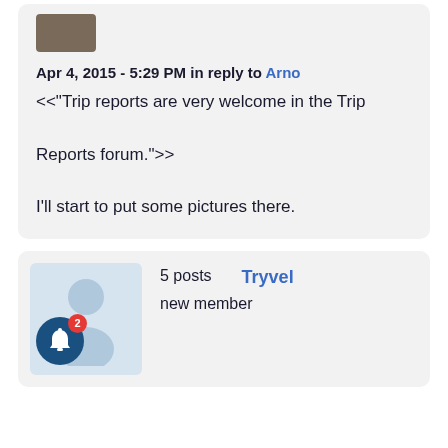[Figure (photo): Small thumbnail photo at top of comment]
Apr 4, 2015 - 5:29 PM in reply to Arno
<<"Trip reports are very welcome in the Trip Reports forum.">>

I'll start to put some pictures there.
[Figure (illustration): User avatar block with person silhouette on light blue background, bell icon with notification badge showing 2]
5 posts   Tryvel
new member